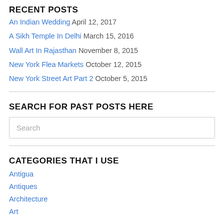RECENT POSTS
An Indian Wedding April 12, 2017
A Sikh Temple In Delhi March 15, 2016
Wall Art In Rajasthan November 8, 2015
New York Flea Markets October 12, 2015
New York Street Art Part 2 October 5, 2015
SEARCH FOR PAST POSTS HERE
Search
CATEGORIES THAT I USE
Antigua
Antiques
Architecture
Art